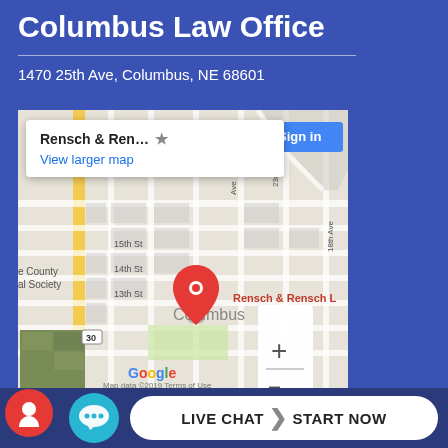Columbus Law Office
1470 25th Ave, Columbus, NE 68601
[Figure (map): Google Maps screenshot showing Rensch & Rensch Law office location in Columbus, NE. Map pin on 15th/16th street area. Includes popup showing 'Rensch & Ren...' with star and 'View larger map' link, and a Sign in button. Street grid visible with 15th St, 14th St, 13th St, 18th Ave labeled. Google logo and 'Map data ©2019  Terms of Use' at bottom.]
LIVE CHAT  START NOW